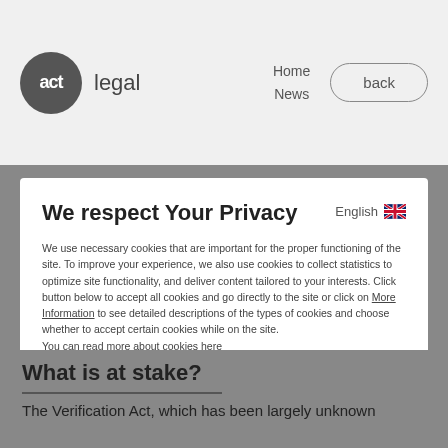act legal | Home | News | back
We respect Your Privacy
We use necessary cookies that are important for the proper functioning of the site. To improve your experience, we also use cookies to collect statistics to optimize site functionality, and deliver content tailored to your interests. Click button below to accept all cookies and go directly to the site or click on More Information to see detailed descriptions of the types of cookies and choose whether to accept certain cookies while on the site.
You can read more about cookies here
Agree and Proceed
What is at stake?
The Verification Act, which has been largely unknown